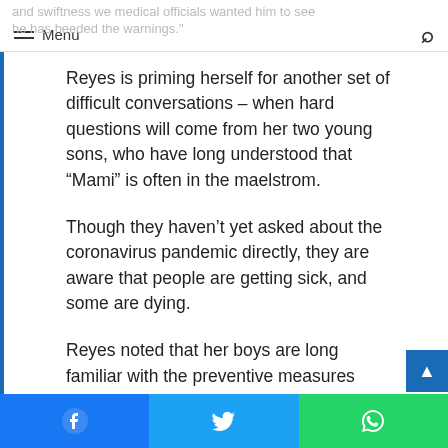Menu
Reyes is priming herself for another set of difficult conversations – when hard questions will come from her two young sons, who have long understood that “Mami” is often in the maelstrom.
Though they haven’t yet asked about the coronavirus pandemic directly, they are aware that people are getting sick, and some are dying.
Reyes noted that her boys are long familiar with the preventive measures being urged today.
“To them, it’s just the regular protocols,” she said.